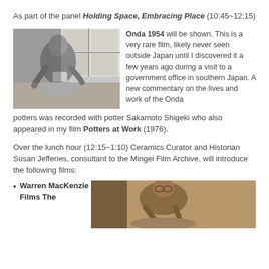As part of the panel Holding Space, Embracing Place (10:45~12:15)
[Figure (photo): Black and white photograph of a Japanese potter working at a pottery wheel, shaping a vessel]
Onda 1954 will be shown. This is a very rare film, likely never seen outside Japan until I discovered it a few years ago during a visit to a government office in southern Japan. A new commentary on the lives and work of the Onda potters was recorded with potter Sakamoto Shigeki who also appeared in my film Potters at Work (1976).
Over the lunch hour (12:15~1:10) Ceramics Curator and Historian Susan Jefferies, consultant to the Mingei Film Archive, will introduce the following films:
Warren MacKenzie Films The
[Figure (photo): Color photograph of a person working at a pottery wheel, seen from above, warm tones]